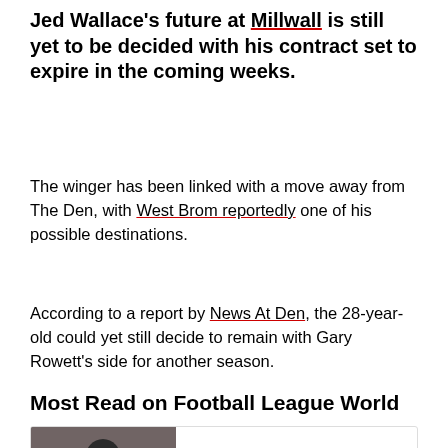Jed Wallace's future at Millwall is still yet to be decided with his contract set to expire in the coming weeks.
The winger has been linked with a move away from The Den, with West Brom reportedly one of his possible destinations.
According to a report by News At Den, the 28-year-old could yet still decide to remain with Gary Rowett's side for another season.
Most Read on Football League World
[Figure (photo): Photo of a footballer in dark clothing, looking downward]
What is the latest transfer news and gossip at Reading FC?